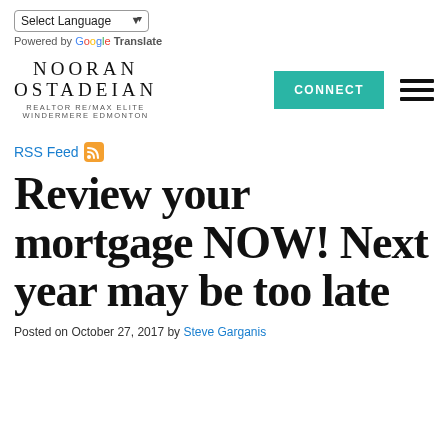Select Language | Powered by Google Translate
[Figure (logo): Nooran Ostadeian Realtor RE/MAX Elite Windermere Edmonton logo with CONNECT button and hamburger menu]
RSS Feed
Review your mortgage NOW! Next year may be too late
Posted on October 27, 2017 by Steve Garganis